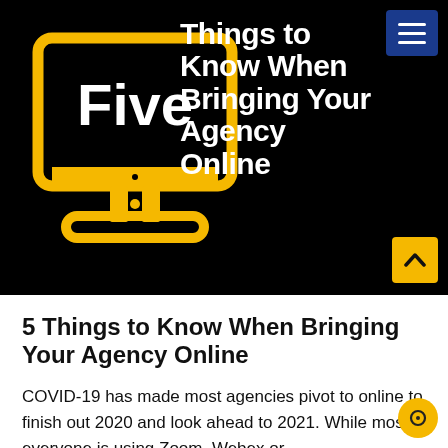[Figure (illustration): Hero banner with black background showing a yellow monitor icon with 'Five' text inside, and white bold text reading 'Things to Know When Bringing Your Agency Online'. A blue hamburger menu button in top-right corner and a yellow scroll-up arrow button in bottom-right corner.]
5 Things to Know When Bringing Your Agency Online
COVID-19 has made most agencies pivot to online to finish out 2020 and look ahead to 2021. While most everyone is using Zoom, Webex or